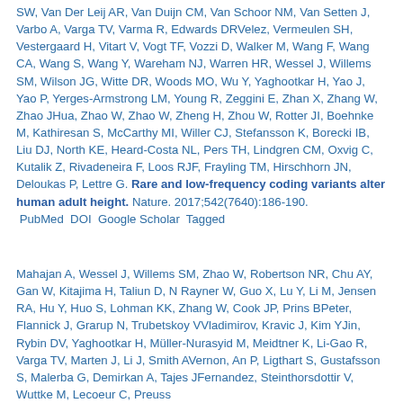SW, Van Der Leij AR, Van Duijn CM, Van Schoor NM, Van Setten J, Varbo A, Varga TV, Varma R, Edwards DRVelez, Vermeulen SH, Vestergaard H, Vitart V, Vogt TF, Vozzi D, Walker M, Wang F, Wang CA, Wang S, Wang Y, Wareham NJ, Warren HR, Wessel J, Willems SM, Wilson JG, Witte DR, Woods MO, Wu Y, Yaghootkar H, Yao J, Yao P, Yerges-Armstrong LM, Young R, Zeggini E, Zhan X, Zhang W, Zhao JHua, Zhao W, Zhao W, Zheng H, Zhou W, Rotter JI, Boehnke M, Kathiresan S, McCarthy MI, Willer CJ, Stefansson K, Borecki IB, Liu DJ, North KE, Heard-Costa NL, Pers TH, Lindgren CM, Oxvig C, Kutalik Z, Rivadeneira F, Loos RJF, Frayling TM, Hirschhorn JN, Deloukas P, Lettre G. Rare and low-frequency coding variants alter human adult height. Nature. 2017;542(7640):186-190. PubMed DOI Google Scholar Tagged
Mahajan A, Wessel J, Willems SM, Zhao W, Robertson NR, Chu AY, Gan W, Kitajima H, Taliun D, N Rayner W, Guo X, Lu Y, Li M, Jensen RA, Hu Y, Huo S, Lohman KK, Zhang W, Cook JP, Prins BPeter, Flannick J, Grarup N, Trubetskoy VVladimirov, Kravic J, Kim YJin, Rybin DV, Yaghootkar H, Müller-Nurasyid M, Meidtner K, Li-Gao R, Varga TV, Marten J, Li J, Smith AVernon, An P, Ligthart S, Gustafsson S, Malerba G, Demirkan A, Tajes JFernandez, Steinthorsdottir V, Wuttke M, Lecoeur C, Preuss